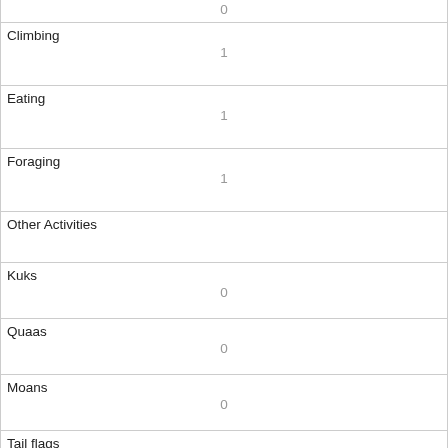| Category | Value |
| --- | --- |
| (partial top row) | 0 |
| Climbing | 1 |
| Eating | 1 |
| Foraging | 1 |
| Other Activities |  |
| Kuks | 0 |
| Quaas | 0 |
| Moans | 0 |
| Tail flags | 0 |
| Tail twitches | 0 |
| Approaches | 0 |